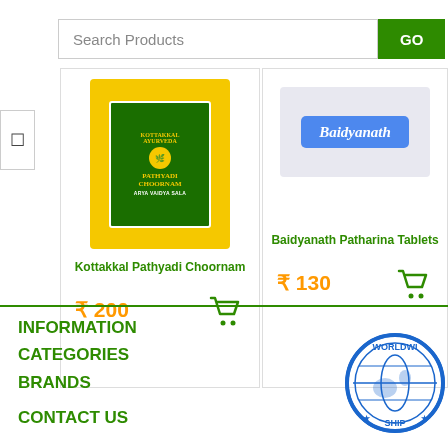[Figure (screenshot): Search bar with text input 'Search Products' and green GO button]
[Figure (photo): Kottakkal Pathyadi Choornam product - yellow package with green label]
Kottakkal Pathyadi Choornam
₹ 200
[Figure (photo): Baidyanath Patharina Tablets product - white container with blue Baidyanath label]
Baidyanath Patharina Tablets
₹ 130
INFORMATION
CATEGORIES
BRANDS
CONTACT US
[Figure (logo): Worldwide Shipping circular stamp logo in blue]